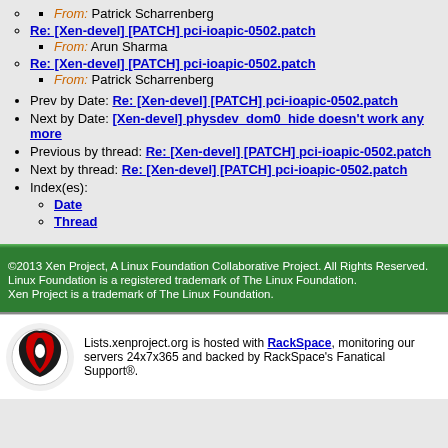From: Patrick Scharrenberg
Re: [Xen-devel] [PATCH] pci-ioapic-0502.patch
From: Arun Sharma
Re: [Xen-devel] [PATCH] pci-ioapic-0502.patch
From: Patrick Scharrenberg
Prev by Date: Re: [Xen-devel] [PATCH] pci-ioapic-0502.patch
Next by Date: [Xen-devel] physdev_dom0_hide doesn't work any more
Previous by thread: Re: [Xen-devel] [PATCH] pci-ioapic-0502.patch
Next by thread: Re: [Xen-devel] [PATCH] pci-ioapic-0502.patch
Index(es):
Date
Thread
©2013 Xen Project, A Linux Foundation Collaborative Project. All Rights Reserved. Linux Foundation is a registered trademark of The Linux Foundation. Xen Project is a trademark of The Linux Foundation.
Lists.xenproject.org is hosted with RackSpace, monitoring our servers 24x7x365 and backed by RackSpace's Fanatical Support®.